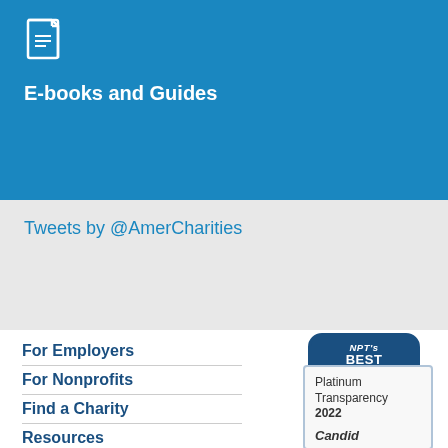[Figure (infographic): Blue banner with document icon and E-books and Guides heading]
E-books and Guides
Tweets by @AmerCharities
For Employers
For Nonprofits
Find a Charity
Resources
[Figure (logo): NPT's Best Nonprofits To Work For 2022 badge]
[Figure (logo): Platinum Transparency 2022 Candid badge]